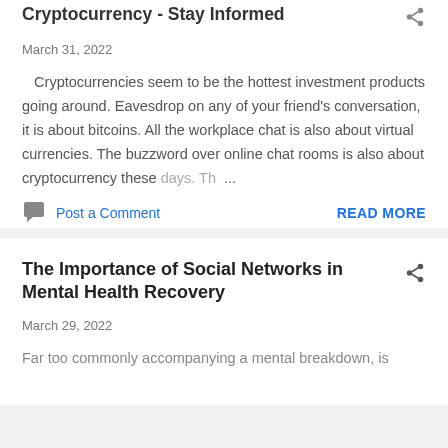Cryptocurrency - Stay Informed
March 31, 2022
Cryptocurrencies seem to be the hottest investment products going around. Eavesdrop on any of your friend's conversation, it is about bitcoins. All the workplace chat is also about virtual currencies. The buzzword over online chat rooms is also about cryptocurrency these days. Th…
Post a Comment
READ MORE
The Importance of Social Networks in Mental Health Recovery
March 29, 2022
Far too commonly accompanying a mental breakdown, is